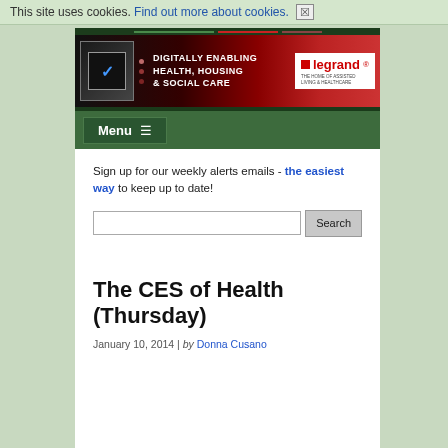This site uses cookies. Find out more about cookies. ⊠
[Figure (screenshot): Website header with dark green background and a red banner advertisement for Legrand: 'Digitally Enabling Health, Housing & Social Care' with Legrand logo and tagline 'The Home of Assisted Living & Healthcare'. Below is a dark green navigation bar with a Menu button with hamburger icon.]
Sign up for our weekly alerts emails - the easiest way to keep up to date!
The CES of Health (Thursday)
January 10, 2014 | by Donna Cusano